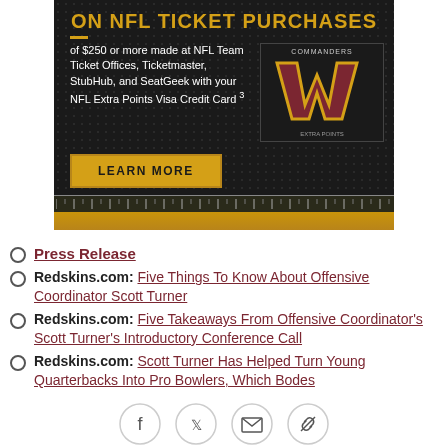[Figure (illustration): NFL ticket purchase advertisement banner with Washington Commanders logo, gold 'W' on dark textured background. Text reads 'ON NFL TICKET PURCHASES of $250 or more made at NFL Team Ticket Offices, Ticketmaster, StubHub, and SeatGeek with your NFL Extra Points Visa Credit Card 3' with a 'LEARN MORE' button.]
Press Release
Redskins.com: Five Things To Know About Offensive Coordinator Scott Turner
Redskins.com: Five Takeaways From Offensive Coordinator's Scott Turner's Introductory Conference Call
Redskins.com: Scott Turner Has Helped Turn Young Quarterbacks Into Pro Bowlers, Which Bodes